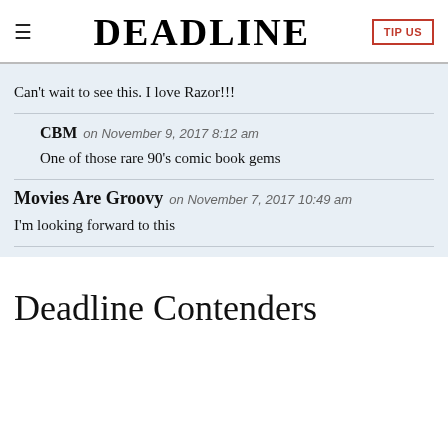≡ DEADLINE TIP US
Can't wait to see this. I love Razor!!!
CBM on November 9, 2017 8:12 am
One of those rare 90's comic book gems
Movies Are Groovy on November 7, 2017 10:49 am
I'm looking forward to this
Deadline Contenders